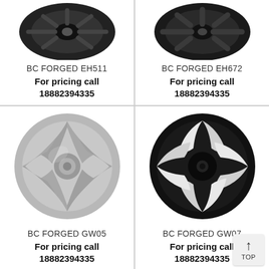[Figure (photo): BC FORGED EH511 wheel - black forged wheel, partial top view]
BC FORGED EH511
For pricing call
18882394335
[Figure (photo): BC FORGED EH672 wheel - black forged wheel, partial top view]
BC FORGED EH672
For pricing call
18882394335
[Figure (photo): BC FORGED GW05 wheel - silver/grey forged wheel with multi-spoke design, side-angled view]
BC FORGED GW05
For pricing call
18882394335
[Figure (photo): BC FORGED GW07 wheel - black and white forged wheel with curved spoke design, side-angled view]
BC FORGED GW07
For pricing call
18882394335